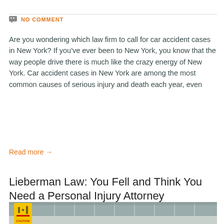NO COMMENT
Are you wondering which law firm to call for car accident cases in New York? If you've ever been to New York, you know that the way people drive there is much like the crazy energy of New York. Car accident cases in New York are among the most common causes of serious injury and death each year, even
Read more →
Lieberman Law: You Fell and Think You Need a Personal Injury Attorney
[Figure (photo): Yellow caution sign in what appears to be an indoor corridor or airport, with blurred background showing glass railings and ceiling structures.]